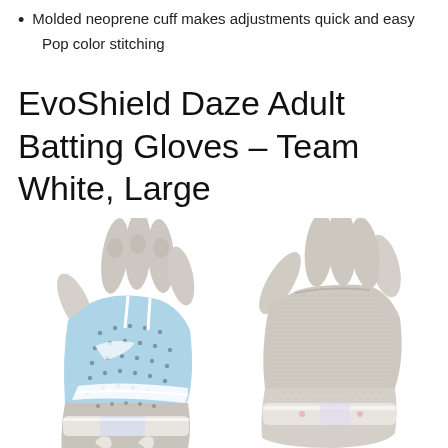Molded neoprene cuff makes adjustments quick and easy
Pop color stitching
EvoShield Daze Adult Batting Gloves – Team White, Large
[Figure (photo): Two EvoShield Daze Adult Batting Gloves displayed side by side showing front/back views. Left glove shows the palm side with light blue perforated suede panels and small dot accents; right glove shows the back/dorsal side in white/grey textured material. Both gloves feature a white strap at the wrist.]